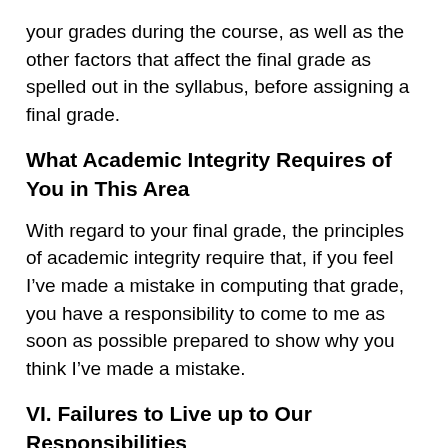your grades during the course, as well as the other factors that affect the final grade as spelled out in the syllabus, before assigning a final grade.
What Academic Integrity Requires of You in This Area
With regard to your final grade, the principles of academic integrity require that, if you feel I’ve made a mistake in computing that grade, you have a responsibility to come to me as soon as possible prepared to show why you think I’ve made a mistake.
VI. Failures to Live up to Our Responsibilities
In all of the areas listed above, I will do my best to live up to my responsibilities. If you feel I’ve failed to do so,